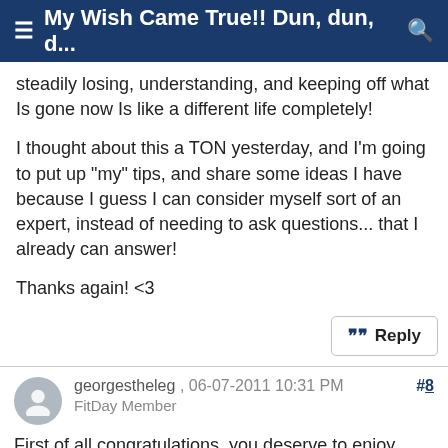My Wish Came True!! Dun, dun, d...
steadily losing, understanding, and keeping off what Is gone now Is like a different life completely!
I thought about this a TON yesterday, and I'm going to put up "my" tips, and share some ideas I have because I guess I can consider myself sort of an expert, instead of needing to ask questions... that I already can answer!
Thanks again! <3
georgestheleg , 06-07-2011 10:31 PM
FitDay Member
#8
First of all congratulations, you deserve to enjoy your newfound health and lifestyle. As a person who lost over a hundred pounds and got a little anxious when I finished, I